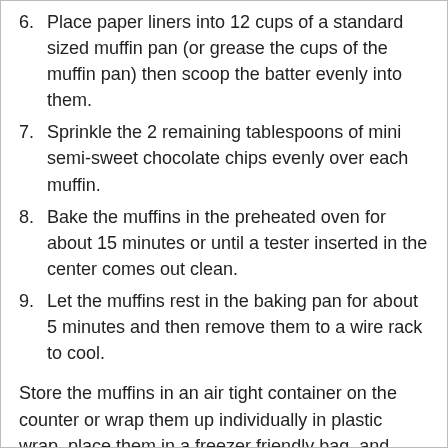6. Place paper liners into 12 cups of a standard sized muffin pan (or grease the cups of the muffin pan) then scoop the batter evenly into them.
7. Sprinkle the 2 remaining tablespoons of mini semi-sweet chocolate chips evenly over each muffin.
8. Bake the muffins in the preheated oven for about 15 minutes or until a tester inserted in the center comes out clean.
9. Let the muffins rest in the baking pan for about 5 minutes and then remove them to a wire rack to cool.
Store the muffins in an air tight container on the counter or wrap them up individually in plastic wrap, place them in a freezer friendly bag, and freeze them for up to 2 to 3 months.